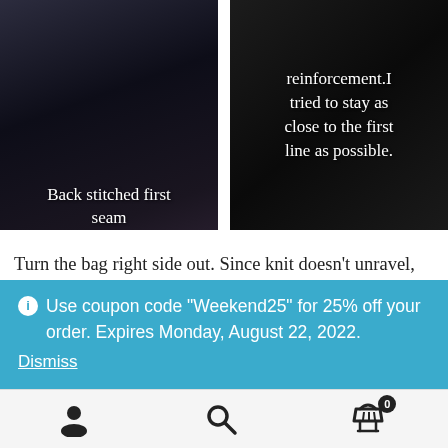[Figure (photo): Dark photo of fabric seam with white text overlay reading 'Back stitched first seam']
[Figure (photo): Dark photo of dark fabric/seam with white text overlay reading 'reinforcement.I tried to stay as close to the first line as possible.']
Turn the bag right side out. Since knit doesn't unravel, you could stop there and be done. I like to sew around the arm and neck holes to reinforce the t-shirts original shoulder seams and give it a more finished look.
Use coupon code "Weekend25" for 25% off your order. Expires Monday, August 22, 2022. Dismiss